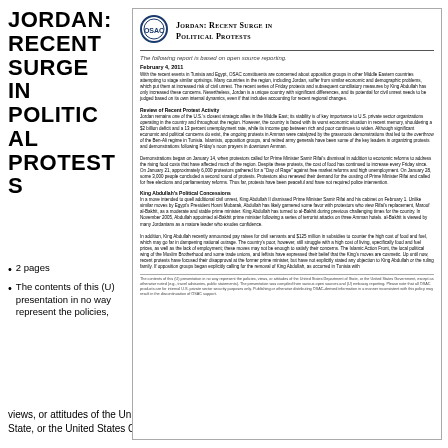JORDAN: RECENT SURGE IN POLITICAL PROTESTS
2 pages
The contents of this (U) presentation in no way represent the policies,
views, or attitudes of the United States Department of State, or the United States Government, except as
[Figure (other): Scanned OSAC report page titled 'Jordan: Recent Surge in Political Protests' with OSAC logo, dated February 4, 2011, containing body text about recent protest activity and King Abdullah's political concessions.]